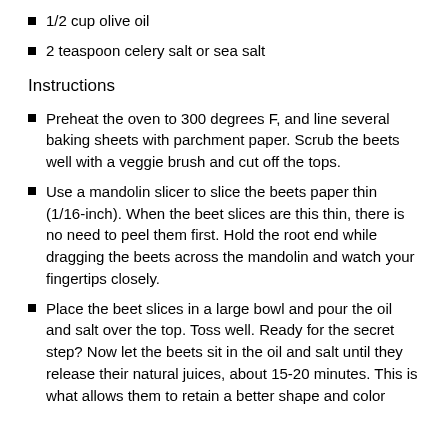1/2 cup olive oil
2 teaspoon celery salt or sea salt
Instructions
Preheat the oven to 300 degrees F, and line several baking sheets with parchment paper. Scrub the beets well with a veggie brush and cut off the tops.
Use a mandolin slicer to slice the beets paper thin (1/16-inch). When the beet slices are this thin, there is no need to peel them first. Hold the root end while dragging the beets across the mandolin and watch your fingertips closely.
Place the beet slices in a large bowl and pour the oil and salt over the top. Toss well. Ready for the secret step? Now let the beets sit in the oil and salt until they release their natural juices, about 15-20 minutes. This is what allows them to retain a better shape and color